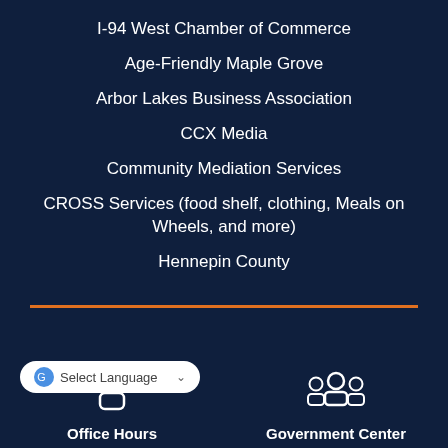I-94 West Chamber of Commerce
Age-Friendly Maple Grove
Arbor Lakes Business Association
CCX Media
Community Mediation Services
CROSS Services (food shelf, clothing, Meals on Wheels, and more)
Hennepin County
[Figure (infographic): Orange horizontal divider line]
[Figure (infographic): Person icon above Office Hours label]
Office Hours
[Figure (infographic): Group of people icon above Government Center label]
Government Center